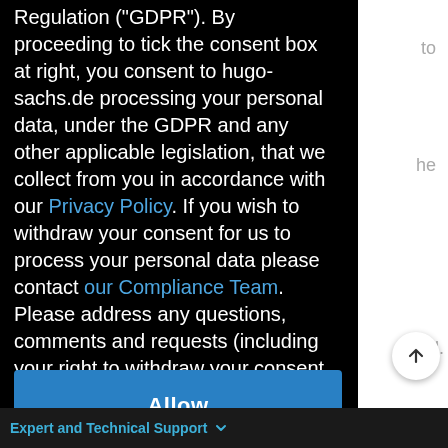Regulation ("GDPR"). By proceeding to tick the consent box at right, you consent to hugo-sachs.de processing your personal data, under the GDPR and any other applicable legislation, that we collect from you in accordance with our Privacy Policy. If you wish to withdraw your consent for us to process your personal data please contact our Compliance Team. Please address any questions, comments and requests (including your right to withdraw your consent to process your personal data) regarding our data processing practices to our Compliance Team.
Allow
Expert and Technical Support